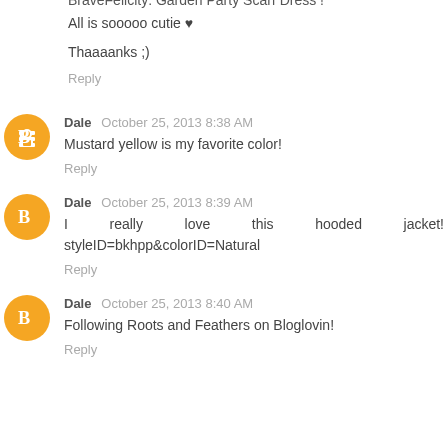BraveFelicity: Garden Party Scarf Dress !
All is sooooo cutie ♥
Thaaaanks ;)
Reply
Dale  October 25, 2013 8:38 AM
Mustard yellow is my favorite color!
Reply
Dale  October 25, 2013 8:39 AM
I really love this hooded jacket! styleID=bkhpp&colorID=Natural
Reply
Dale  October 25, 2013 8:40 AM
Following Roots and Feathers on Bloglovin!
Reply